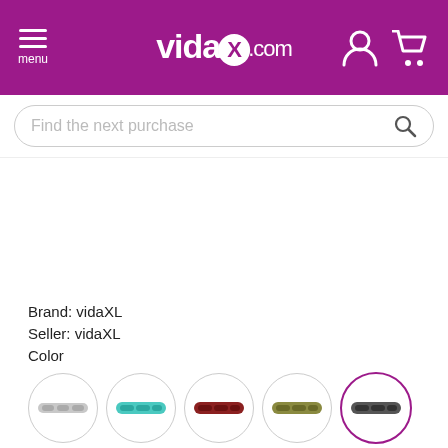[Figure (screenshot): vidaXL website header with hamburger menu, logo, user icon and cart icon on purple background]
Find the next purchase
Brand: vidaXL
Seller: vidaXL
Color
[Figure (photo): Five circular color swatches showing different sofa/bench colors: grey/silver chain pattern, teal/turquoise, dark red/brown, olive/khaki, dark grey (selected with purple border)]
Model